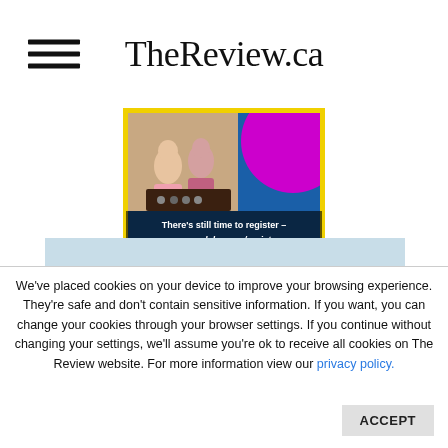TheReview.ca
[Figure (photo): Advertisement banner for UCDSB school registration. Shows two children playing at a table, with a magenta circle graphic on the right side. Text reads: There's still time to register - www.ucdsb.on.ca/register. Blue background with yellow border.]
[Figure (photo): Stack of newspapers shown from above on a light blue background.]
We've placed cookies on your device to improve your browsing experience. They're safe and don't contain sensitive information. If you want, you can change your cookies through your browser settings. If you continue without changing your settings, we'll assume you're ok to receive all cookies on The Review website. For more information view our privacy policy.
ACCEPT